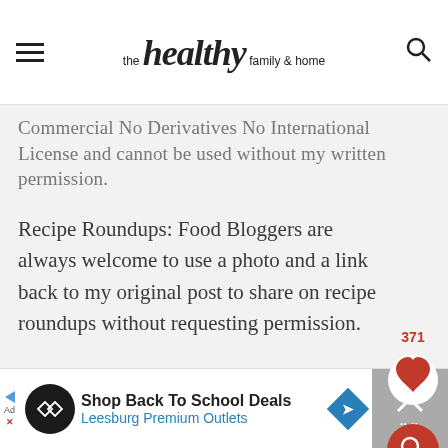the healthy family & home
Commercial No Derivatives No International License and cannot be used without my written permission.
Recipe Roundups: Food Bloggers are always welcome to use a photo and a link back to my original post to share on recipe roundups without requesting permission.
[Figure (other): Advertisement bar: Shop Back To School Deals - Leesburg Premium Outlets]
Shop Back To School Deals | Leesburg Premium Outlets